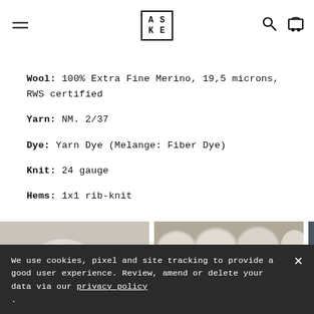ASKET navigation header with hamburger menu, ASKET logo, search icon, and cart icon
Wool: 100% Extra Fine Merino, 19,5 microns, RWS certified
Yarn: NM. 2/37
Dye: Yarn Dye (Melange: Fiber Dye)
Knit: 24 gauge
Hems: 1x1 rib-knit
[Figure (photo): Three white Merino sheep close-up]
[Figure (photo): White yarn rolls/balls stacked on shelves]
[Figure (photo): Industrial knitting machine with blue yarn]
We use cookies, pixel and site tracking to provide a good user experience. Review, amend or delete your data via our privacy policy .